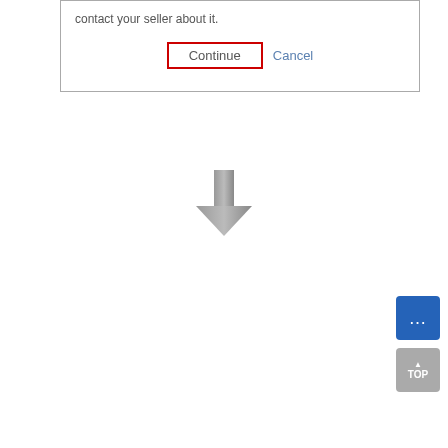contact your seller about it.
[Figure (screenshot): Top dialog box with Continue button (red border) and Cancel link]
[Figure (illustration): Downward arrow indicating flow to next step]
[Figure (screenshot): Dialog: Report the invalid tracking NO. with text area placeholder 'You may leave a note here about your issue.' and Report (red border) and Cancel buttons]